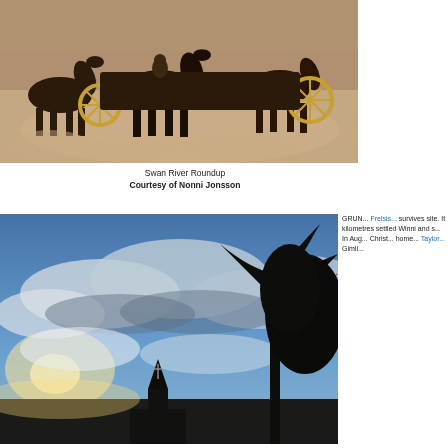[Figure (photo): Horses pulling wagons racing at Swan River Roundup, kicking up dust on a dirt track]
Swan River Roundup
Courtesy of Nonni Jonsson
[Figure (photo): Church steeple silhouetted against dramatic cloudy sky with sunlight breaking through clouds and tree silhouette on right]
GRUN... Frelsis... survives site. It kilometres settled Winni and s... In Aug... Christ... home... Taylor... Gimli...